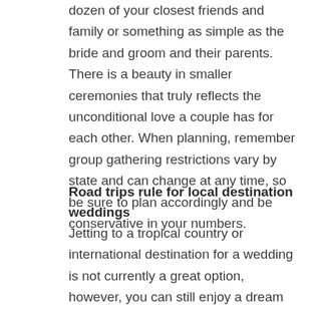dozen of your closest friends and family or something as simple as the bride and groom and their parents. There is a beauty in smaller ceremonies that truly reflects the unconditional love a couple has for each other. When planning, remember group gathering restrictions vary by state and can change at any time, so be sure to plan accordingly and be conservative in your numbers.
Road trips rule for local destination weddings
Jetting to a tropical country or international destination for a wedding is not currently a great option, however, you can still enjoy a dream destination wedding in a picturesque setting when you explore options within driving distance. For example, Kohler, Wisconsin, is the premier wedding destination